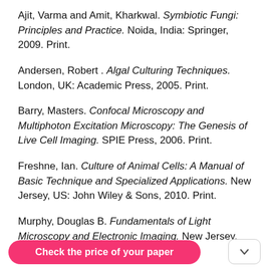Ajit, Varma and Amit, Kharkwal. Symbiotic Fungi: Principles and Practice. Noida, India: Springer, 2009. Print.
Andersen, Robert . Algal Culturing Techniques. London, UK: Academic Press, 2005. Print.
Barry, Masters. Confocal Microscopy and Multiphoton Excitation Microscopy: The Genesis of Live Cell Imaging. SPIE Press, 2006. Print.
Freshne, Ian. Culture of Animal Cells: A Manual of Basic Technique and Specialized Applications. New Jersey, US: John Wiley & Sons, 2010. Print.
Murphy, Douglas B. Fundamentals of Light Microscopy and Electronic Imaging. New Jersey, US: John Wiley & Sons, 2001. Print.
Check the price of your paper